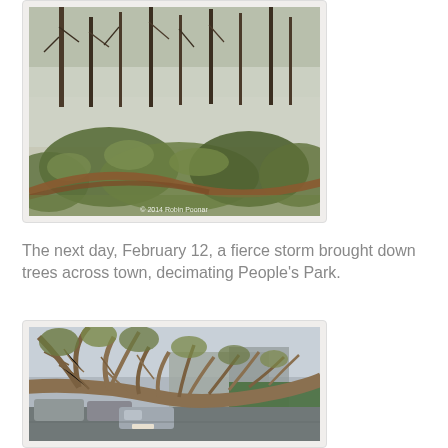[Figure (photo): Flooded area with bare winter trees and green leafy shrubs in the foreground, waterlogged ground visible. Copyright watermark: © 2014 Robin Poonar]
The next day, February 12, a fierce storm brought down trees across town, decimating People's Park.
[Figure (photo): A large fallen tree lying across cars in a car park, with bare branches spread wide, green foliage and buildings in the background.]